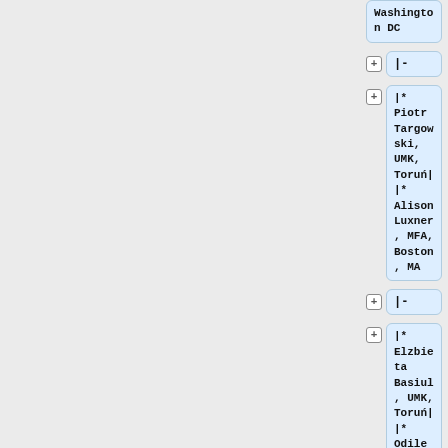Washington DC
|-
|* Piotr Targowski, UMK, Toruń||* Alison Luxner, MFA, Boston, MA
|-
|* Elzbieta Basiul, UMK, Toruń||* Odile Madden, MCI (Smithsonian), Washington